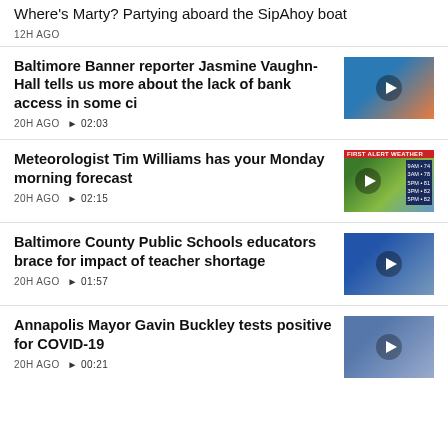Where's Marty? Partying aboard the SipAhoy boat
12H AGO
Baltimore Banner reporter Jasmine Vaughn-Hall tells us more about the lack of bank access in some ci
20H AGO ▶ 02:03
[Figure (photo): Video thumbnail showing a news reporter]
Meteorologist Tim Williams has your Monday morning forecast
20H AGO ▶ 02:15
[Figure (photo): Video thumbnail showing a weather forecast screen with FIRST ALERT WEATHER banner]
Baltimore County Public Schools educators brace for impact of teacher shortage
20H AGO ▶ 01:57
[Figure (photo): Video thumbnail showing a person with a child]
Annapolis Mayor Gavin Buckley tests positive for COVID-19
20H AGO ▶ 00:21
[Figure (photo): Video thumbnail showing a man outdoors]